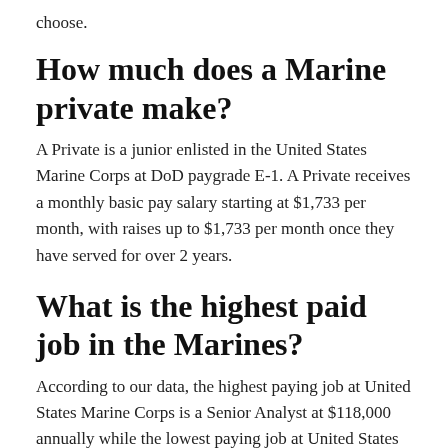choose.
How much does a Marine private make?
A Private is a junior enlisted in the United States Marine Corps at DoD paygrade E-1. A Private receives a monthly basic pay salary starting at $1,733 per month, with raises up to $1,733 per month once they have served for over 2 years.
What is the highest paid job in the Marines?
According to our data, the highest paying job at United States Marine Corps is a Senior Analyst at $118,000 annually while the lowest paying job at United States Marine Corps is an Aviation Maintenance Administration Specialist at